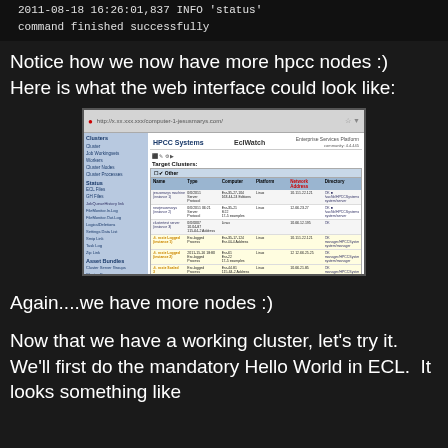2011-08-18 16:26:01,837 INFO 'status'
command finished successfully
Notice how we now have more hpcc nodes :)  Here is what the web interface could look like:
[Figure (screenshot): Screenshot of HPCC Systems EclWatch web interface showing Target Clusters panel with Thor and Hthor cluster tables listing machine instances with columns for Name, Type, Computer, Platform, Network Address, and Directory.]
Again....we have more nodes :)
Now that we have a working cluster, let's try it.  We'll first do the mandatory Hello World in ECL.  It looks something like